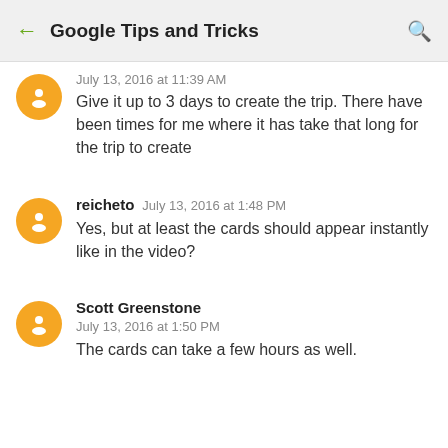Google Tips and Tricks
July 13, 2016 at 11:39 AM
Give it up to 3 days to create the trip. There have been times for me where it has take that long for the trip to create
reicheto  July 13, 2016 at 1:48 PM
Yes, but at least the cards should appear instantly like in the video?
Scott Greenstone  July 13, 2016 at 1:50 PM
The cards can take a few hours as well.